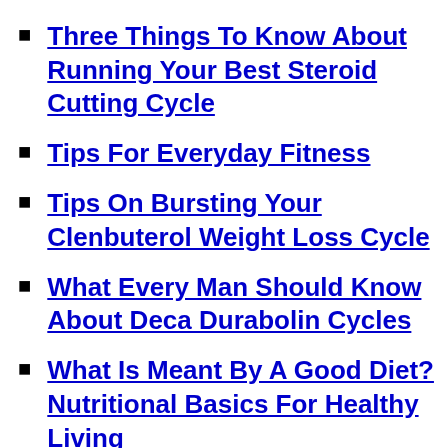Bodybuilding
Three Things To Know About Running Your Best Steroid Cutting Cycle
Tips For Everyday Fitness
Tips On Bursting Your Clenbuterol Weight Loss Cycle
What Every Man Should Know About Deca Durabolin Cycles
What Is Meant By A Good Diet? Nutritional Basics For Healthy Living
What Is Roid Cycle?
Why Clenbuterol Should Be Your Only Cutting Cycle Steroid